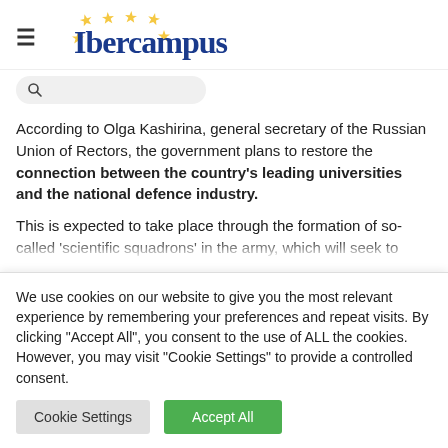Ibercampus
According to Olga Kashirina, general secretary of the Russian Union of Rectors, the government plans to restore the connection between the country's leading universities and the national defence industry.
This is expected to take place through the formation of so-called 'scientific squadrons' in the army, which will seek to
We use cookies on our website to give you the most relevant experience by remembering your preferences and repeat visits. By clicking "Accept All", you consent to the use of ALL the cookies. However, you may visit "Cookie Settings" to provide a controlled consent.